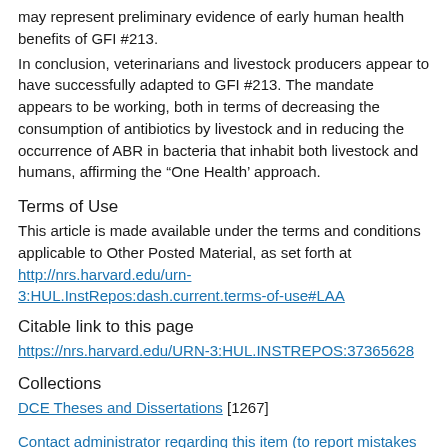may represent preliminary evidence of early human health benefits of GFI #213.
In conclusion, veterinarians and livestock producers appear to have successfully adapted to GFI #213. The mandate appears to be working, both in terms of decreasing the consumption of antibiotics by livestock and in reducing the occurrence of ABR in bacteria that inhabit both livestock and humans, affirming the “One Health’ approach.
Terms of Use
This article is made available under the terms and conditions applicable to Other Posted Material, as set forth at http://nrs.harvard.edu/urn-3:HUL.InstRepos:dash.current.terms-of-use#LAA
Citable link to this page
https://nrs.harvard.edu/URN-3:HUL.INSTREPOS:37365628
Collections
DCE Theses and Dissertations [1267]
Contact administrator regarding this item (to report mistakes or